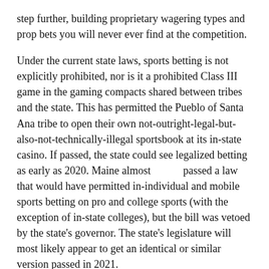step further, building proprietary wagering types and prop bets you will never ever find at the competition.
Under the current state laws, sports betting is not explicitly prohibited, nor is it a prohibited Class III game in the gaming compacts shared between tribes and the state. This has permitted the Pueblo of Santa Ana tribe to open their own not-outright-legal-but-also-not-technically-illegal sportsbook at its in-state casino. If passed, the state could see legalized betting as early as 2020. Maine almost          passed a law that would have permitted in-individual and mobile sports betting on pro and college sports (with the exception of in-state colleges), but the bill was vetoed by the state's governor. The state's legislature will most likely appear to get an identical or similar version passed in 2021.
The Padres have only 15 winning seasons in franchise history as of 2020. They created the World Series in 1984